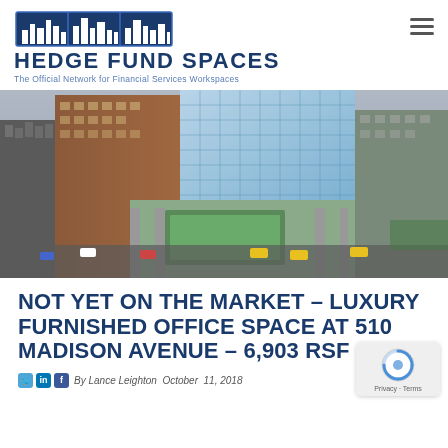HEDGE FUND SPACES — The Official Network for Financial Services Workspaces
[Figure (photo): Aerial view of 510 Madison Avenue, a modern glass skyscraper in Midtown Manhattan, surrounded by other buildings and busy streets with traffic.]
NOT YET ON THE MARKET – LUXURY FURNISHED OFFICE SPACE AT 510 MADISON AVENUE – 6,903 RSF
By Lance Leighton  October  11, 2018